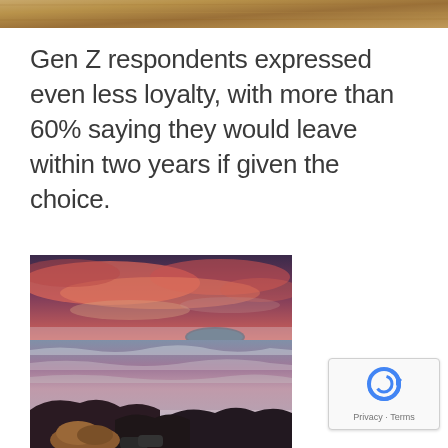[Figure (photo): Wooden surface or texture — top banner image strip]
Gen Z respondents expressed even less loyalty, with more than 60% saying they would leave within two years if given the choice.
[Figure (photo): Landscape photo showing a dramatic pink/purple sunset over the ocean, with a rocky shoreline, a dog and people's feet visible in the foreground rocks]
[Figure (other): reCAPTCHA badge with logo and Privacy - Terms text]